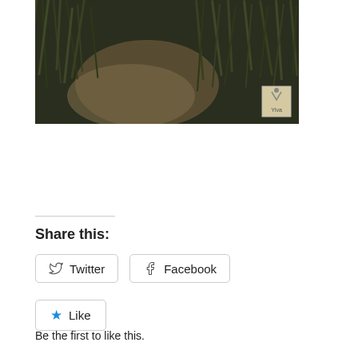[Figure (photo): Dark nature photograph showing sandy path through tall grass/dunes with a small watermark logo in the bottom right corner]
Share this:
Twitter   Facebook
Like
Be the first to like this.
Privacy & Cookies: This site uses cookies. By continuing to use this website, you agree to their use. To find out more, including how to control cookies, see here: Cookie Policy
Close and accept
Bramhall